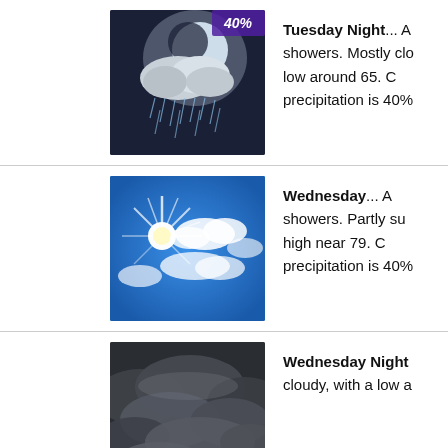[Figure (photo): Night sky weather image showing moon behind clouds with rain, 40% precipitation badge in purple corner]
Tuesday Night... A showers. Mostly clo low around 65. C precipitation is 40%
[Figure (photo): Sunny blue sky with bright sunburst and scattered clouds]
Wednesday... A showers. Partly su high near 79. C precipitation is 40%
[Figure (photo): Dark dramatic cloudy night sky, heavily overcast]
Wednesday Nigh cloudy, with a low a
[Figure (photo): Bright light blue sky, partially cropped at bottom of page]